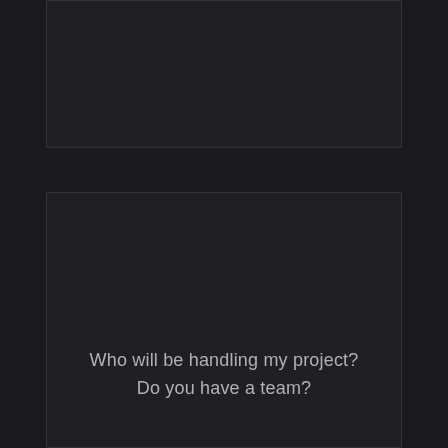[Figure (other): Top dark panel, empty content area with dark background and border]
[Figure (other): Bottom dark panel with text at the bottom reading 'Who will be handling my project? Do you have a team?']
Who will be handling my project? Do you have a team?